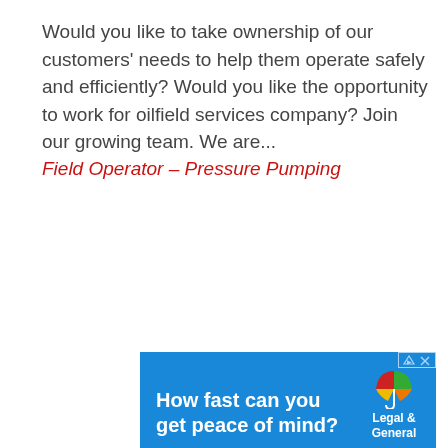Would you like to take ownership of our customers' needs to help them operate safely and efficiently? Would you like the opportunity to work for oilfield services company? Join our growing team. We are...
Field Operator – Pressure Pumping
[Figure (other): Advertisement banner for Legal & General with blue background. Text reads 'How fast can you get peace of mind?' with Legal & General umbrella logo.]